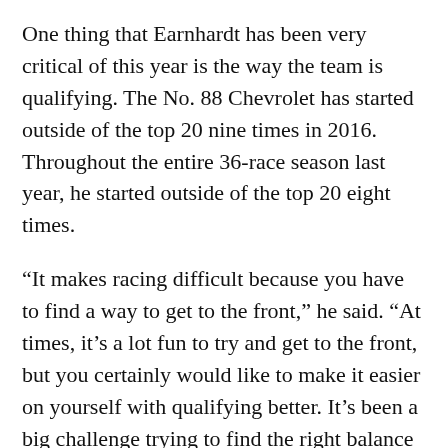One thing that Earnhardt has been very critical of this year is the way the team is qualifying. The No. 88 Chevrolet has started outside of the top 20 nine times in 2016. Throughout the entire 36-race season last year, he started outside of the top 20 eight times.
“It makes racing difficult because you have to find a way to get to the front,” he said. “At times, it’s a lot fun to try and get to the front, but you certainly would like to make it easier on yourself with qualifying better. It’s been a big challenge trying to find the right balance for us and get speed.”
Though Earnhardt has six solid finishes this season, the first stint of the race seems to be abou[scroll button] rebounding for the team, attempting to drive the car